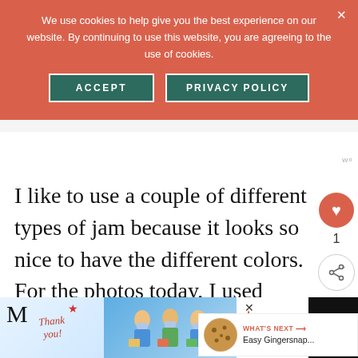We use cookies to help give you the best experience on our website. By continuing to use this website, you are agreeing to the use of cookies.
ACCEPT
PRIVACY POLICY
I like to use a couple of different types of jam because it looks so nice to have the different colors. For the photos today, I used blackberry, raspberry, strawberry, and apricot. Use whatever you've got or whatever you
[Figure (screenshot): What's Next panel with cookie image and link to Easy Gingersnap... article]
[Figure (photo): Advertisement banner at bottom: thank you note with Operation Gratitude imagery showing healthcare workers]